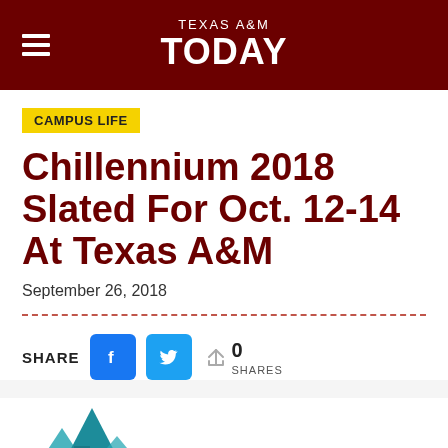TEXAS A&M TODAY
CAMPUS LIFE
Chillennium 2018 Slated For Oct. 12-14 At Texas A&M
September 26, 2018
SHARE 0 SHARES
[Figure (illustration): Partial view of a stylized building or logo graphic in teal/blue color at the bottom of the page]